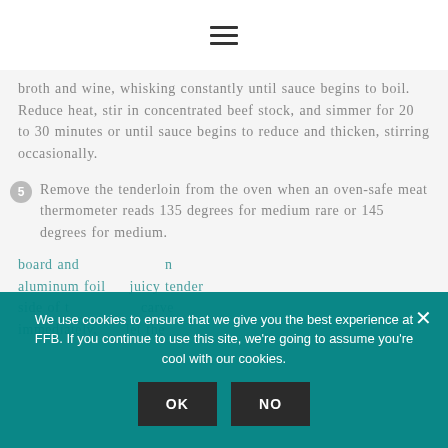≡
broth and wine, whisking constantly until sauce begins to boil. Reduce heat, stir in concentrated beef stock, and simmer for 20 to 30 minutes or until sauce begins to reduce and thicken, stirring occasionally.
5 Remove the tenderloin from the oven when an oven-safe meat thermometer reads 135 degrees for medium rare or 145 degrees for medium.
board and ... aluminum foil ... juicy tender side of the ... carve immediately. the ... let the
We use cookies to ensure that we give you the best experience at FFB. If you continue to use this site, we're going to assume you're cool with our cookies.